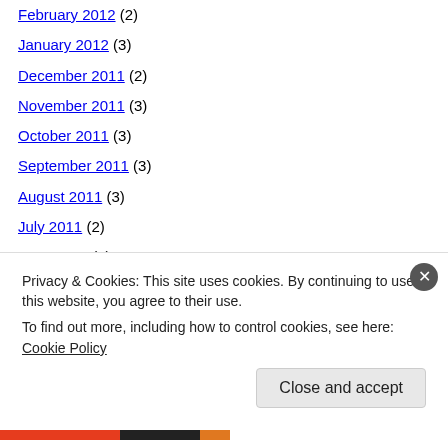February 2012 (2)
January 2012 (3)
December 2011 (2)
November 2011 (3)
October 2011 (3)
September 2011 (3)
August 2011 (3)
July 2011 (2)
June 2011 (2)
May 2011 (2)
April 2011 (3)
March 2011 (6)
February 2011 (3)
January 2011 (6)
Privacy & Cookies: This site uses cookies. By continuing to use this website, you agree to their use. To find out more, including how to control cookies, see here: Cookie Policy